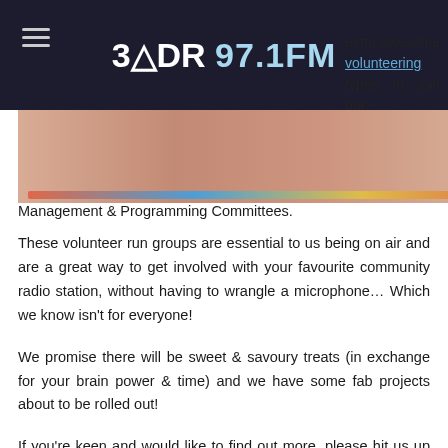3MDR 97.1FM
[Figure (photo): Header image showing people at a community radio station event with colorful decorations]
extra awesome volunteering types to join our Management & Programming Committees.
These volunteer run groups are essential to us being on air and are a great way to get involved with your favourite community radio station, without having to wrangle a microphone… Which we know isn't for everyone!
We promise there will be sweet & savoury treats (in exchange for your brain power & time) and we have some fab projects about to be rolled out!
If you're keen and would like to find out more, please hit us up in the office via 9752 5637 or engagement@3mdr.com